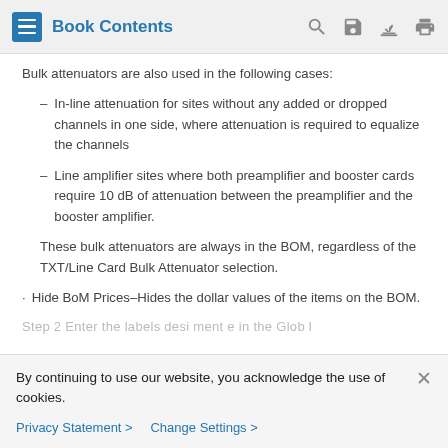Book Contents
Bulk attenuators are also used in the following cases:
In-line attenuation for sites without any added or dropped channels in one side, where attenuation is required to equalize the channels
Line amplifier sites where both preamplifier and booster cards require 10 dB of attenuation between the preamplifier and the booster amplifier.
These bulk attenuators are always in the BOM, regardless of the TXT/Line Card Bulk Attenuator selection.
Hide BoM Prices–Hides the dollar values of the items on the BOM.
By continuing to use our website, you acknowledge the use of cookies.
Privacy Statement > Change Settings >